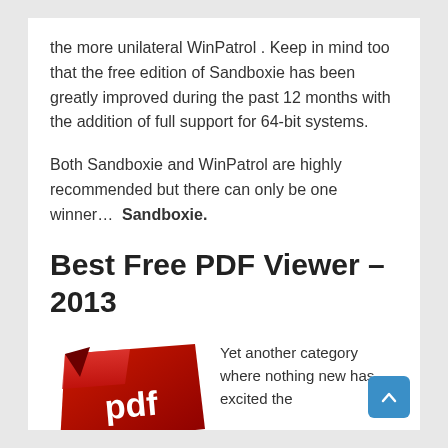the more unilateral WinPatrol . Keep in mind too that the free edition of Sandboxie has been greatly improved during the past 12 months with the addition of full support for 64-bit systems.
Both Sandboxie and WinPatrol are highly recommended but there can only be one winner…  Sandboxie.
Best Free PDF Viewer – 2013
[Figure (illustration): Red PDF logo icon with white 'pdf' text on a folded red label/tag shape]
Yet another category where nothing new has excited the